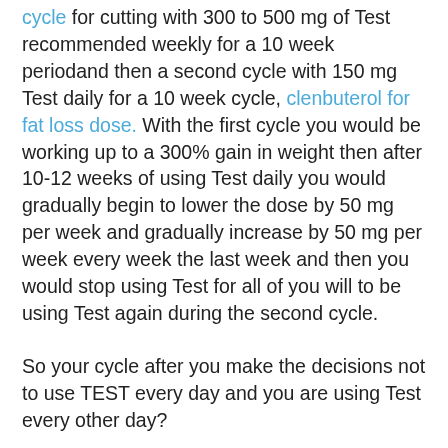cycle for cutting with 300 to 500 mg of Test recommended weekly for a 10 week periodand then a second cycle with 150 mg Test daily for a 10 week cycle, clenbuterol for fat loss dose. With the first cycle you would be working up to a 300% gain in weight then after 10-12 weeks of using Test daily you would gradually begin to lower the dose by 50 mg per week and gradually increase by 50 mg per week every week the last week and then you would stop using Test for all of you will to be using Test again during the second cycle.
So your cycle after you make the decisions not to use TEST every day and you are using Test every other day?